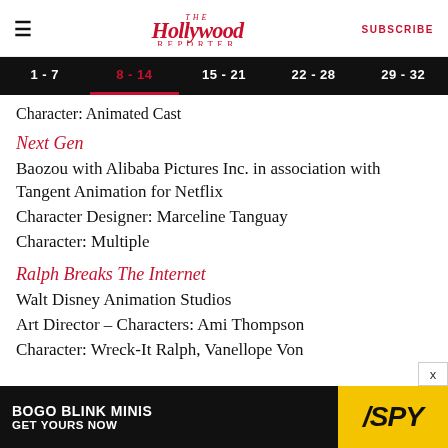The Hollywood Reporter — SUBSCRIBE
1 - 7 | 8 - 14 | 15 - 21 | 22 - 28 | 29 - 32
Character: Animated Cast
Next Gen
Baozou with Alibaba Pictures Inc. in association with Tangent Animation for Netflix
Character Designer: Marceline Tanguay
Character: Multiple
Ralph Breaks The Internet
Walt Disney Animation Studios
Art Director – Characters: Ami Thompson
Character: Wreck-It Ralph, Vanellope Von
[Figure (other): BOGO Blink Minis advertisement banner — GET YOURS NOW with SPY logo on yellow background]